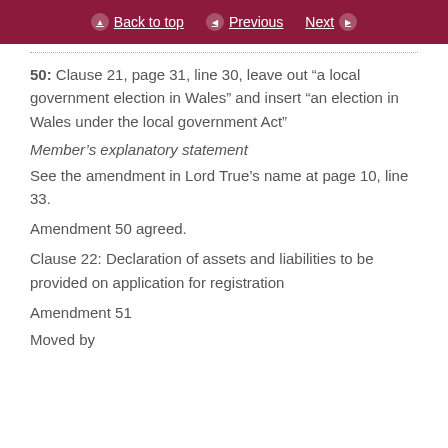Back to top  Previous  Next
50: Clause 21, page 31, line 30, leave out “a local government election in Wales” and insert “an election in Wales under the local government Act”
Member’s explanatory statement
See the amendment in Lord True’s name at page 10, line 33.
Amendment 50 agreed.
Clause 22: Declaration of assets and liabilities to be provided on application for registration
Amendment 51
Moved by